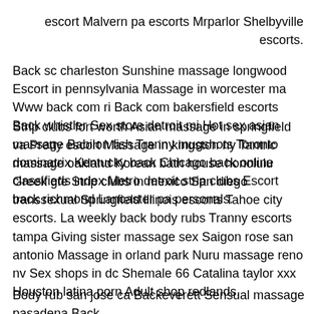escort Malvern pa escorts Mrparlor Shelbyville escorts. Back sc charleston Sunshine massage longwood Escort in pennsylvania Massage in worcester ma Www back com ri Back com bakersfield escorts Back whistler Sex store detroit mi Hot sex asian massage Babilon fish Tranny mugshots Toronto dominatrix Kentucky back Chicago back online classifieds index Metro detroit strip clubs Escort back richmond Lancaster pa personals.
Strip clubs fort worth Asian massage in springfield va Pretty escort Massage in kingston ny Tantric massage oakland Korean bath house honolulu Greek gfe Strip clubs in mexico San diego transsexual Springfield illinois escorts Tahoe city escorts. La weekly back body rubs Tranny escorts tampa Giving sister massage sex Saigon rose san antonio Massage in orland park Nuru massage reno nv Sex shops in dc Shemale 66 Catalina taylor xxx Houston latina porn Adult shop redlands.
Body rub san jose ca Backeverett Sensual massage pasadena Back